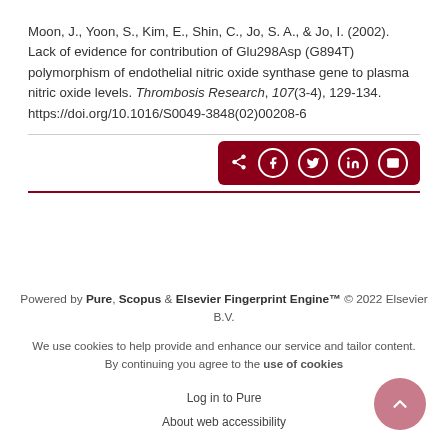Moon, J., Yoon, S., Kim, E., Shin, C., Jo, S. A., & Jo, I. (2002). Lack of evidence for contribution of Glu298Asp (G894T) polymorphism of endothelial nitric oxide synthase gene to plasma nitric oxide levels. Thrombosis Research, 107(3-4), 129-134. https://doi.org/10.1016/S0049-3848(02)00208-6
[Figure (other): Share button group with dark red background showing share, Facebook, Twitter, LinkedIn, and email icons]
Powered by Pure, Scopus & Elsevier Fingerprint Engine™ © 2022 Elsevier B.V.
We use cookies to help provide and enhance our service and tailor content. By continuing you agree to the use of cookies
Log in to Pure
About web accessibility